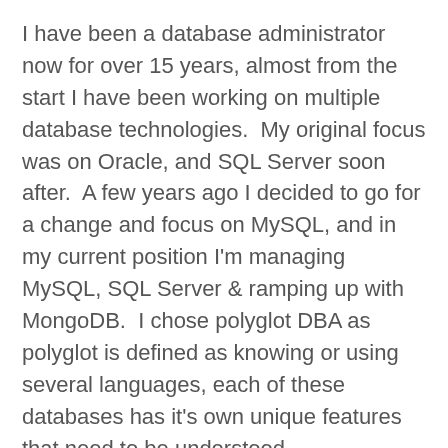I have been a database administrator now for over 15 years, almost from the start I have been working on multiple database technologies.  My original focus was on Oracle, and SQL Server soon after.  A few years ago I decided to go for a change and focus on MySQL, and in my current position I'm managing MySQL, SQL Server & ramping up with MongoDB.  I chose polyglot DBA as polyglot is defined as knowing or using several languages, each of these databases has it's own unique features that need to be understood.
As I continue to work with & learn new features of these technologies, I wanted a place to track my thoughts & notes.  There are a lot of great blogs that I follow, but sometimes I find that I need more information – are there prerequisites that are missing?  Do I need more detail on why something is done a certain way?  I document a lot, when working with large teams and being a technical lead I had to get standard procedures